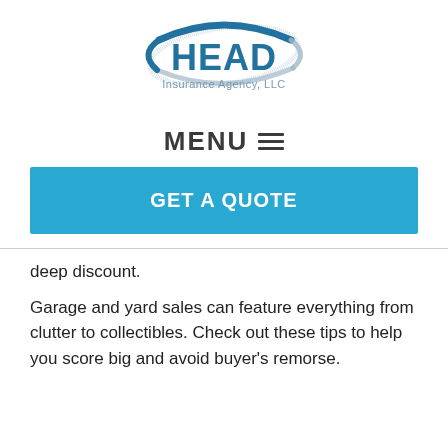[Figure (logo): HEAD Insurance Agency, LLC logo with stylized oval swoosh around the word HEAD]
MENU ☰
GET A QUOTE
deep discount.
Garage and yard sales can feature everything from clutter to collectibles. Check out these tips to help you score big and avoid buyer's remorse.